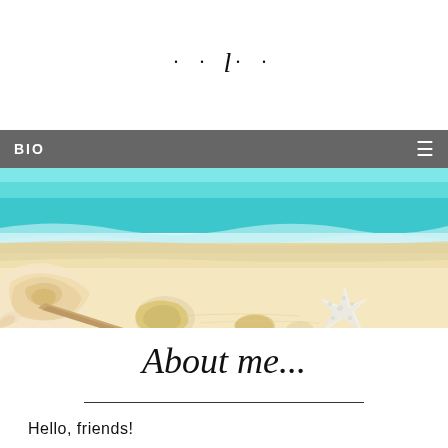.. l..
BIO ≡
[Figure (photo): Beach scene with turquoise ocean water, white sand, and seashells including conch shells and starfish in the foreground]
About me...
Hello, friends!